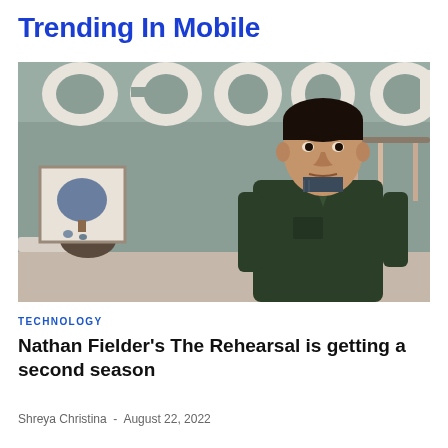Trending In Mobile
[Figure (photo): A man in a dark green zip-up fleece jacket standing in a room. In the background, a framed picture of a tree on the wall, a lamp, and a woman seated. Behind the man and above, large stylized text partially visible reading 'season 2'.]
TECHNOLOGY
Nathan Fielder's The Rehearsal is getting a second season
Shreya Christina - August 22, 2022